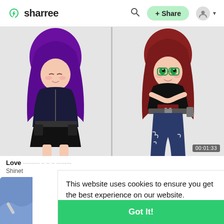sharree — navigation header with logo, search, + Share button, user icon
[Figure (screenshot): Two anime/chibi style characters side by side on a light gray background. Left character has purple hair and dark outfit. Right character has red/brown hair with green eyes and dark outfit with ripped jeans. Duration badge shows 00:01:33.]
Love
Shinet
This website uses cookies to ensure you get the best experience on our website.
Learn More
Got It!